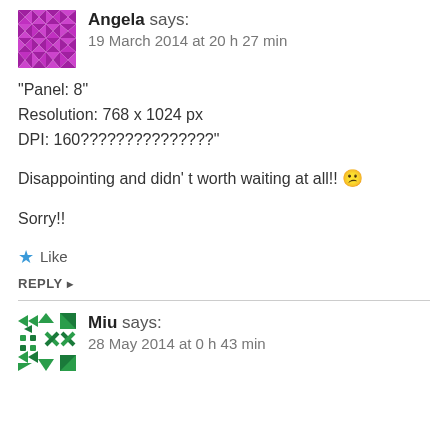Angela says: 19 March 2014 at 20 h 27 min
“Panel: 8”
Resolution: 768 x 1024 px
DPI: 160???????????????”
Disappointing and didn’ t worth waiting at all!! 😕
Sorry!!
★ Like
REPLY ▸
Miu says: 28 May 2014 at 0 h 43 min